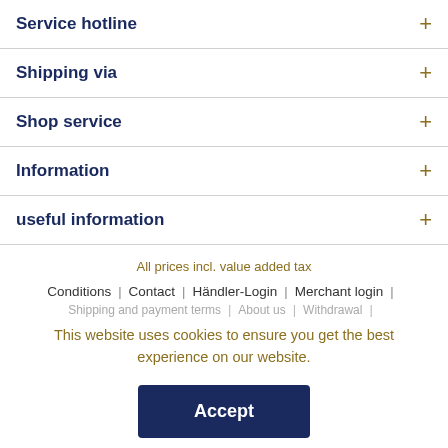Service hotline
Shipping via
Shop service
Information
useful information
All prices incl. value added tax
Conditions | Contact | Händler-Login | Merchant login |
Shipping and payment terms | About us | Withdrawal |
This website uses cookies to ensure you get the best experience on our website.
Accept